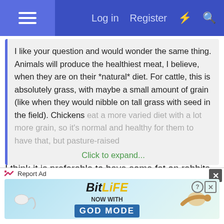Log in  Register
I like your question and would wonder the same thing. Animals will produce the healthiest meat, I believe, when they are on their *natural* diet. For cattle, this is absolutely grass, with maybe a small amount of grain (like when they would nibble on tall grass with seed in the field). Chickens eat a more varied diet with a lot more grain, so it's normal and healthy for them to have that, but pasture-raised
Click to expand...
I think it is preferable to have some fat on rabbits. On most meat, fat makes it more tender. There is also the issue of "rabbit starvation", something I read about recently. This happened to a group of explorers who only had "wild" rabbit as their meat, which I suppose is much leaner, and they had no other source of fat in the diet and although well fed, they eventually died of
[Figure (screenshot): BitLife advertisement banner with 'NOW WITH GOD MODE' text]